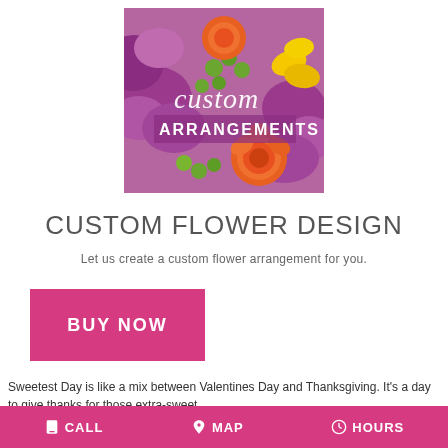[Figure (illustration): A colorful floral arrangement photo with orange roses, purple chrysanthemums, green berries, and yellow flowers. Script text 'custom' and bold 'ARRANGEMENTS' overlaid in white.]
CUSTOM FLOWER DESIGN
Let us create a custom flower arrangement for you.
[Figure (other): Pink/magenta 'BUY NOW' button]
Sweetest Day is like a mix between Valentines Day and Thanksgiving. It's a day to give thanks for those extra-sweet
CALL   MAP   HOURS